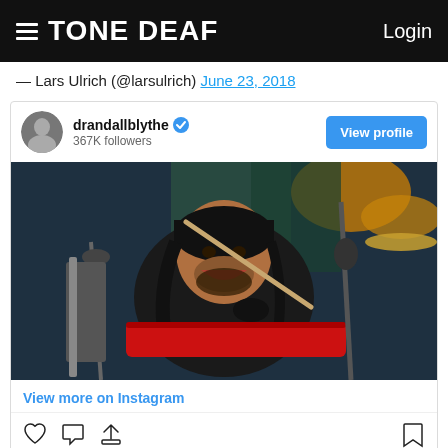TONE DEAF   Login
— Lars Ulrich (@larsulrich) June 23, 2018
[Figure (screenshot): Instagram post embed from drandallblythe (367K followers) showing a drummer smiling while playing drums, with drumsticks and cymbals visible. Includes 'View profile' button, 'View more on Instagram' link, and action icons (heart, comment, share, bookmark).]